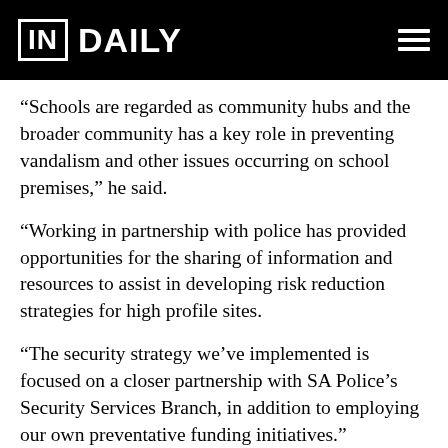IN DAILY
“Schools are regarded as community hubs and the broader community has a key role in preventing vandalism and other issues occurring on school premises,” he said.
“Working in partnership with police has provided opportunities for the sharing of information and resources to assist in developing risk reduction strategies for high profile sites.
“The security strategy we’ve implemented is focused on a closer partnership with SA Police’s Security Services Branch, in addition to employing our own preventative funding initiatives.”
The department identified holidays as the most likely time a school would be targeted by vandals.